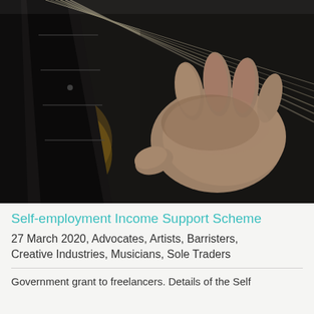[Figure (photo): Close-up photograph of a person's hand fretting guitar strings on a dark guitar neck, shown from a low angle. The image is in muted, dark tones.]
Self-employment Income Support Scheme
27 March 2020, Advocates, Artists, Barristers, Creative Industries, Musicians, Sole Traders
Government grant to freelancers. Details of the Self